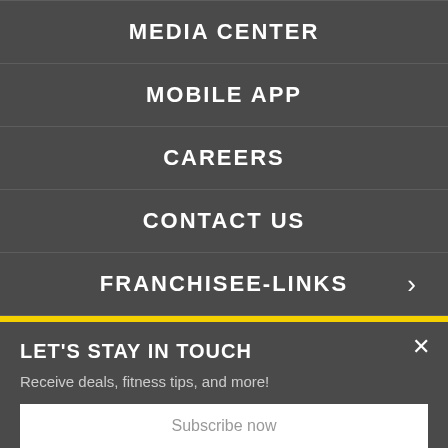MEDIA CENTER
MOBILE APP
CAREERS
CONTACT US
FRANCHISEE-LINKS
LET'S STAY IN TOUCH
Receive deals, fitness tips, and more!
Subscribe now